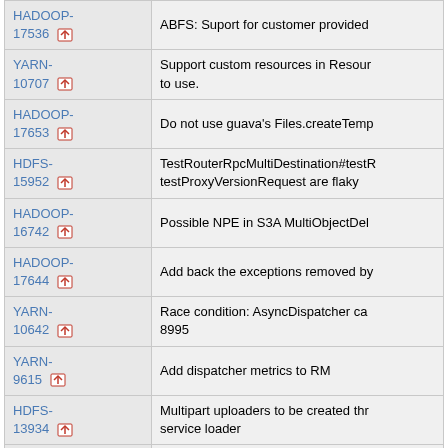| JIRA | Summary |
| --- | --- |
| HADOOP-17536 | ABFS: Suport for customer provided... |
| YARN-10707 | Support custom resources in Resour... to use. |
| HADOOP-17653 | Do not use guava's Files.createTemp... |
| HDFS-15952 | TestRouterRpcMultiDestination#testR... testProxyVersionRequest are flaky |
| HADOOP-16742 | Possible NPE in S3A MultiObjectDel... |
| HADOOP-17644 | Add back the exceptions removed by... |
| YARN-10642 | Race condition: AsyncDispatcher ca... 8995 |
| YARN-9615 | Add dispatcher metrics to RM |
| HDFS-13934 | Multipart uploaders to be created thr... service loader |
| HADOOP-17665 | Ignore missing keystore configuratio... |
| HADOOP-17663 | Remove useless property hadoop.as... |
| HADOOP-17666 | Update LICENSE for 3.3.1 |
OTHER:
| JIRA | Summary |
| --- | --- |
| HADOOP-... | Restore ability to set Text to empty... |